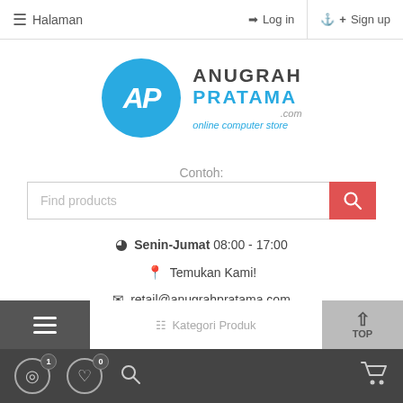≡ Halaman   ➔ Log in   ✚ Sign up
[Figure (logo): Anugrah Pratama logo — blue circle with 'AP' initials, company name 'ANUGRAH PRATAMA .com', tagline 'online computer store']
Contoh:
Find products [search box with red search button]
⊙ Senin-Jumat 08:00 - 17:00
🗺 Temukan Kami!
✉ retail@anugrahpratama.com
📞 031-5928580
📱 08113127777
≡  [Kategori Produk]  ∧ TOP
⏱ 1  ♡ 0  🔍  🛒